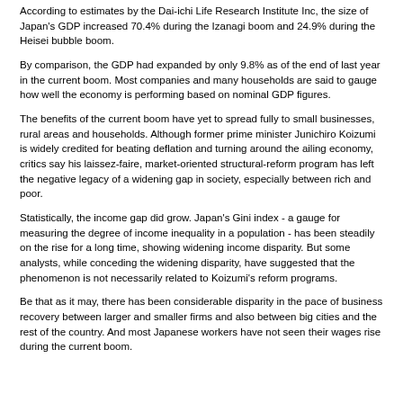According to estimates by the Dai-ichi Life Research Institute Inc, the size of Japan's GDP increased 70.4% during the Izanagi boom and 24.9% during the Heisei bubble boom.
By comparison, the GDP had expanded by only 9.8% as of the end of last year in the current boom. Most companies and many households are said to gauge how well the economy is performing based on nominal GDP figures.
The benefits of the current boom have yet to spread fully to small businesses, rural areas and households. Although former prime minister Junichiro Koizumi is widely credited for beating deflation and turning around the ailing economy, critics say his laissez-faire, market-oriented structural-reform program has left the negative legacy of a widening gap in society, especially between rich and poor.
Statistically, the income gap did grow. Japan's Gini index - a gauge for measuring the degree of income inequality in a population - has been steadily on the rise for a long time, showing widening income disparity. But some analysts, while conceding the widening disparity, have suggested that the phenomenon is not necessarily related to Koizumi's reform programs.
Be that as it may, there has been considerable disparity in the pace of business recovery between larger and smaller firms and also between big cities and the rest of the country. And most Japanese workers have not seen their wages rise during the current boom.